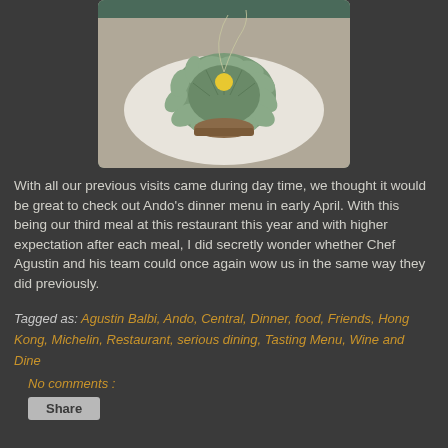[Figure (photo): Overhead shot of an artistic food dish on a white plate — a dome-shaped green vegetable arrangement with scalloped edges and a yellow center, resembling a flower or artichoke, with thin wire-like garnish on top, placed on a wooden base.]
With all our previous visits came during day time, we thought it would be great to check out Ando's dinner menu in early April. With this being our third meal at this restaurant this year and with higher expectation after each meal, I did secretly wonder whether Chef Agustin and his team could once again wow us in the same way they did previously.
Tagged as: Agustin Balbi, Ando, Central, Dinner, food, Friends, Hong Kong, Michelin, Restaurant, serious dining, Tasting Menu, Wine and Dine
No comments :
Share